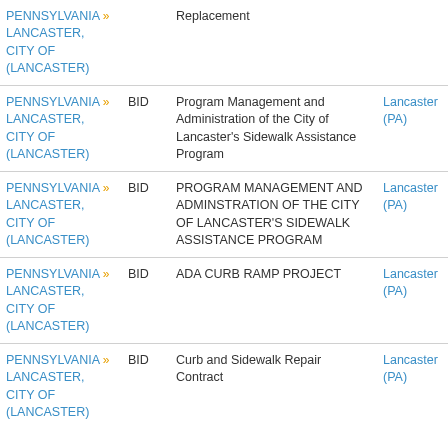| State/Entity | Type | Title | Location | Action |
| --- | --- | --- | --- | --- |
| PENNSYLVANIA » LANCASTER, CITY OF (LANCASTER) | BID | Replacement | Lancaster (PA) | Try GovWin IQ for Free |
| PENNSYLVANIA » LANCASTER, CITY OF (LANCASTER) | BID | Program Management and Administration of the City of Lancaster's Sidewalk Assistance Program | Lancaster (PA) | Try GovWin IQ for Free |
| PENNSYLVANIA » LANCASTER, CITY OF (LANCASTER) | BID | PROGRAM MANAGEMENT AND ADMINSTRATION OF THE CITY OF LANCASTER'S SIDEWALK ASSISTANCE PROGRAM | Lancaster (PA) | Try GovWin IQ for Free |
| PENNSYLVANIA » LANCASTER, CITY OF (LANCASTER) | BID | ADA CURB RAMP PROJECT | Lancaster (PA) | Try GovWin IQ for Free |
| PENNSYLVANIA » LANCASTER, CITY OF (LANCASTER) | BID | Curb and Sidewalk Repair Contract | Lancaster (PA) | Try GovWin IQ for Free |